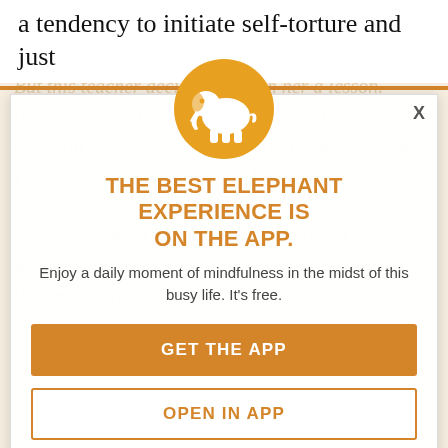a tendency to initiate self-torture and just
[Figure (screenshot): App promotion modal overlay with elephant logo, headline, subtext, and two call-to-action buttons on a faded article background]
THE BEST ELEPHANT EXPERIENCE IS ON THE APP.
Enjoy a daily moment of mindfulness in the midst of this busy life. It's free.
GET THE APP
OPEN IN APP